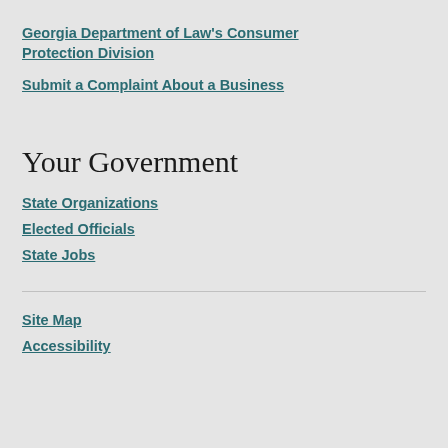Georgia Department of Law's Consumer Protection Division
Submit a Complaint About a Business
Your Government
State Organizations
Elected Officials
State Jobs
Site Map
Accessibility